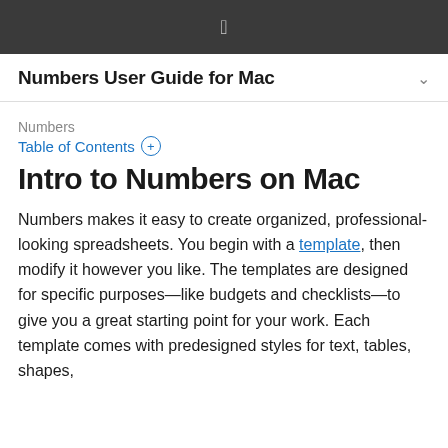Apple logo
Numbers User Guide for Mac
Numbers
Table of Contents +
Intro to Numbers on Mac
Numbers makes it easy to create organized, professional-looking spreadsheets. You begin with a template, then modify it however you like. The templates are designed for specific purposes—like budgets and checklists—to give you a great starting point for your work. Each template comes with predesigned styles for text, tables, shapes,